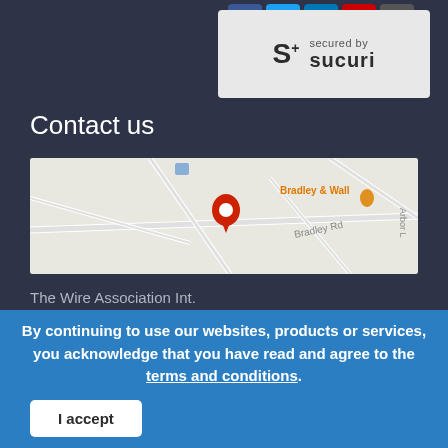[Figure (logo): Sucuri security badge with 'S+' logo and 'secured by sucuri' text on light gray background]
Contact us
[Figure (map): Google Maps screenshot showing Bradley Road area with a red location pin, Bradley & Wall label in orange, and Arbor Lane visible on right edge]
The Wire Association Int.
71 Bradley Road, Suite 9
Madison, CT 06443-2662
P: (203) 453-2777
By continuing to use our websites, products or services, you acknowledge that you have read and agree to the terms and conditions.